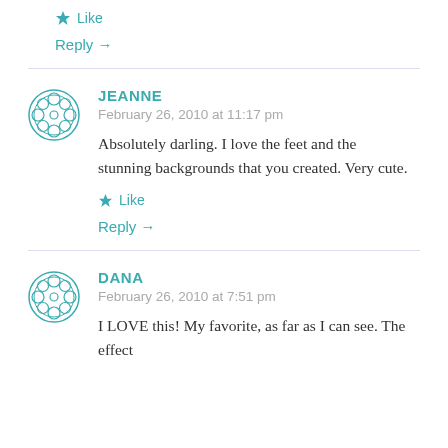Like
Reply →
JEANNE
February 26, 2010 at 11:17 pm
Absolutely darling. I love the feet and the stunning backgrounds that you created. Very cute.
Like
Reply →
DANA
February 26, 2010 at 7:51 pm
I LOVE this! My favorite, as far as I can see. The effect